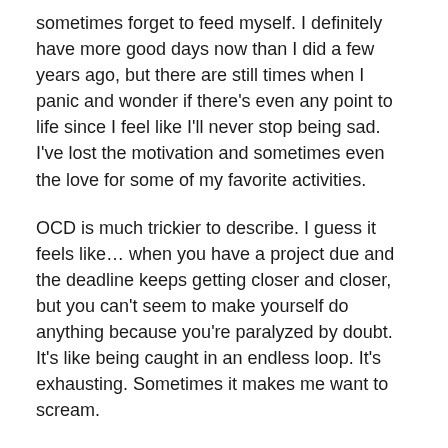sometimes forget to feed myself. I definitely have more good days now than I did a few years ago, but there are still times when I panic and wonder if there's even any point to life since I feel like I'll never stop being sad. I've lost the motivation and sometimes even the love for some of my favorite activities.
OCD is much trickier to describe. I guess it feels like… when you have a project due and the deadline keeps getting closer and closer, but you can't seem to make yourself do anything because you're paralyzed by doubt. It's like being caught in an endless loop. It's exhausting. Sometimes it makes me want to scream.
What is a common misconception